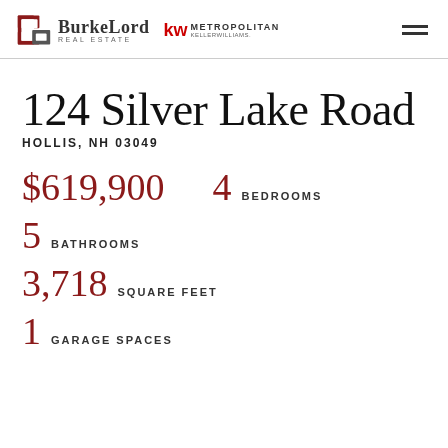[Figure (logo): BurkeLord Real Estate and KW Metropolitan Keller Williams logos in header]
124 Silver Lake Road
HOLLIS, NH 03049
$619,900
4 BEDROOMS
5 BATHROOMS
3,718 SQUARE FEET
1 GARAGE SPACES